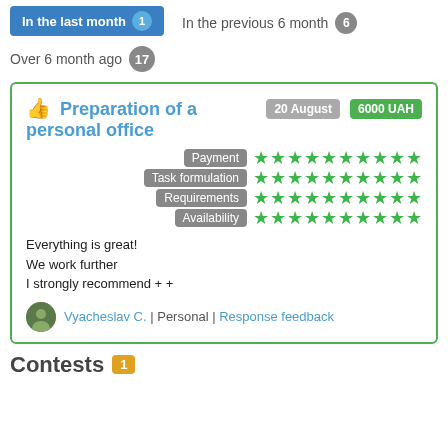In the last month 1
In the previous 6 month 6
Over 6 month ago 17
👍 Preparation of a personal office  20 August  6000 UAH
[Figure (infographic): Star ratings for Payment, Task formulation, Requirements, Availability — all 10 green stars each]
Everything is great!
We work further
I strongly recommend + +
Vyacheslav C. | Personal | Response feedback
Contests 1